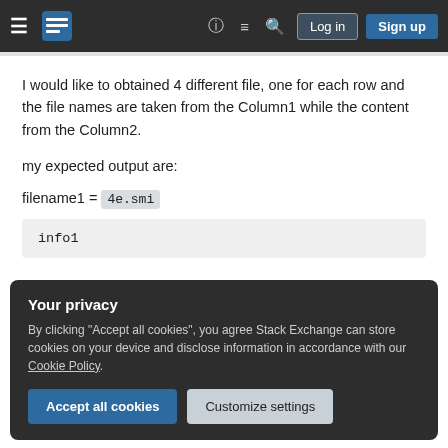Stack Exchange navigation bar with hamburger menu, logo, help, chat, search icons, Log in and Sign up buttons
I would like to obtained 4 different file, one for each row and the file names are taken from the Column1 while the content from the Column2.
my expected output are:
filename1 = 4e.smi
info1
Your privacy
By clicking "Accept all cookies", you agree Stack Exchange can store cookies on your device and disclose information in accordance with our Cookie Policy.
Accept all cookies  Customize settings